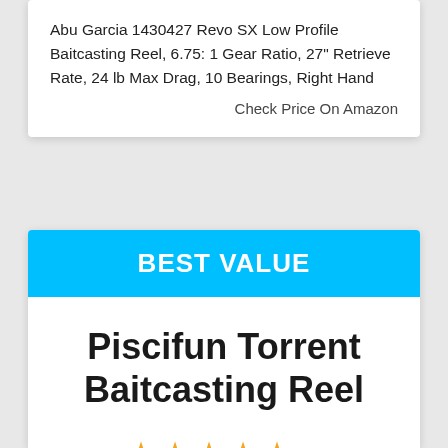Abu Garcia 1430427 Revo SX Low Profile Baitcasting Reel, 6.75: 1 Gear Ratio, 27" Retrieve Rate, 24 lb Max Drag, 10 Bearings, Right Hand
Check Price On Amazon
BEST VALUE
Piscifun Torrent Baitcasting Reel
[Figure (other): Five gold star rating icons]